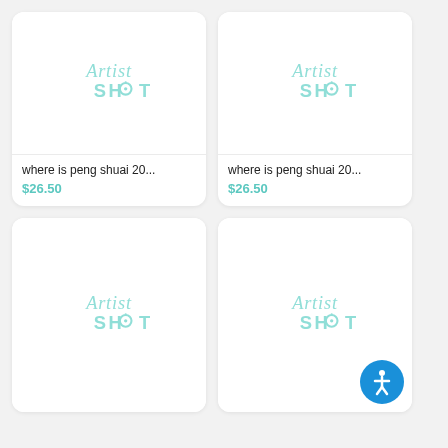[Figure (logo): Artist Shot placeholder logo - top left product card]
where is peng shuai 20...
$26.50
[Figure (logo): Artist Shot placeholder logo - top right product card]
where is peng shuai 20...
$26.50
[Figure (logo): Artist Shot placeholder logo - bottom left product card]
[Figure (logo): Artist Shot placeholder logo - bottom right product card]